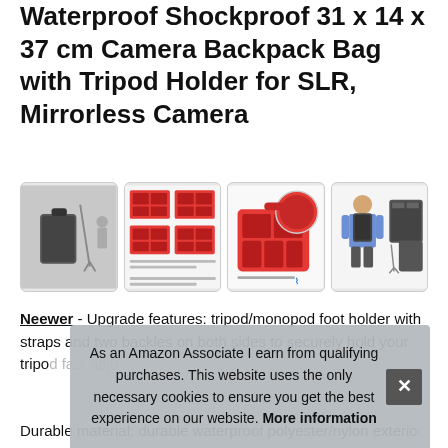Waterproof Shockproof 31 x 14 x 37 cm Camera Backpack Bag with Tripod Holder for SLR, Mirrorless Camera
[Figure (photo): Four thumbnail product images of a camera backpack: exterior view with tripod, internal layout diagrams with red dividers, red interior view, and person wearing the backpack]
Neewer - Upgrade features: tripod/monopod foot holder with straps and two backles on both sides to securely hold your tripo... fast... adju...
Durable material: durable waterproof polyester/nylon exterior
As an Amazon Associate I earn from qualifying purchases. This website uses the only necessary cookies to ensure you get the best experience on our website. More information